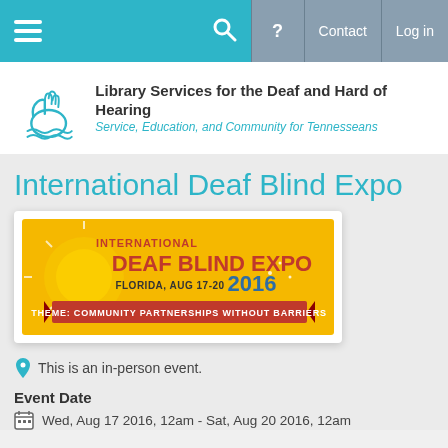Library Services for the Deaf and Hard of Hearing — Navigation bar with hamburger menu, search, help, contact, log in
[Figure (logo): Library Services for the Deaf and Hard of Hearing logo with hand sign illustration and text: 'Library Services for the Deaf and Hard of Hearing — Service, Education, and Community for Tennesseans']
International Deaf Blind Expo
[Figure (illustration): International Deaf Blind Expo banner: yellow background with sun graphic, text 'INTERNATIONAL DEAF BLIND EXPO FLORIDA, AUG 17-20 2016', red ribbon banner 'THEME: COMMUNITY PARTNERSHIPS WITHOUT BARRIERS']
This is an in-person event.
Event Date
Wed, Aug 17 2016, 12am - Sat, Aug 20 2016, 12am